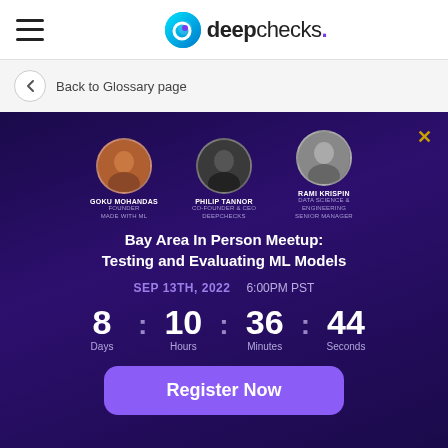deepchecks.
Back to Glossary page
[Figure (infographic): Promotional banner for 'Bay Area In Person Meetup: Testing and Evaluating ML Models' on SEP 13TH, 2022 at 6:00PM PST. Shows three speaker profile photos (Goku Mohandas - Founder Made With ML, Philip Tannor - Co-Founder & CEO Deepchecks, Rami Krispin - Data Science & Engineering Senior Manager), a countdown timer (8 Days : 10 Hours : 36 Minutes : 44 Seconds), and a Register Now button.]